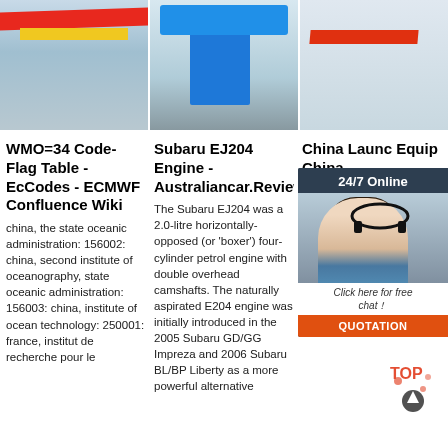[Figure (photo): Overhead crane with red and yellow beams inside industrial building]
[Figure (photo): Blue gantry crane in outdoor industrial yard]
[Figure (photo): Red wall-mounted jib crane inside building]
WMO=34 Code-Flag Table - EcCodes - ECMWF Confluence Wiki
china, the state oceanic administration: 156002: china, second institute of oceanography, state oceanic administration: 156003: china, institute of ocean technology: 250001: france, institut de recherche pour le
Subaru EJ204 Engine - Australiancar.Reviews
The Subaru EJ204 was a 2.0-litre horizontally-opposed (or 'boxer') four-cylinder petrol engine with double overhead camshafts. The naturally aspirated E204 engine was initially introduced in the 2005 Subaru GD/GG Impreza and 2006 Subaru BL/BP Liberty as a more powerful alternative
China Launc Equip China
As well year, 2 years. A bridge la equipme kenya, or india. There are 1,015 bridge launching equipment suppliers, mainly located in Asia. The top supplying country or region is China, which supply 100%
[Figure (screenshot): 24/7 Online chat widget with female customer service representative photo, 'Click here for free chat!' text and orange QUOTATION button]